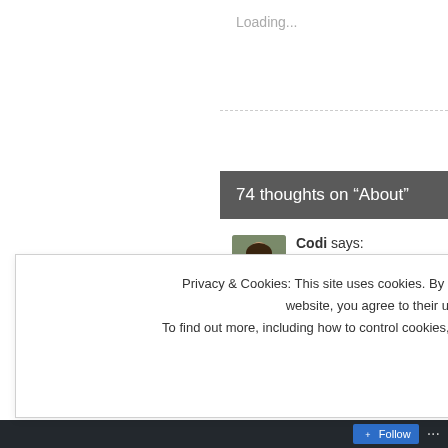Loading...
74 thoughts on “About”
Codi says:
Hi! I’ve enjoyed reading your b… Blogger Award.
[Figure (photo): Avatar photo of Codi, a person with brown hair]
[Figure (photo): Broken image placeholder]
Privacy & Cookies: This site uses cookies. By continuing to use this website, you agree to their use.
To find out more, including how to control cookies, see here: Cookie Policy
Close and accept